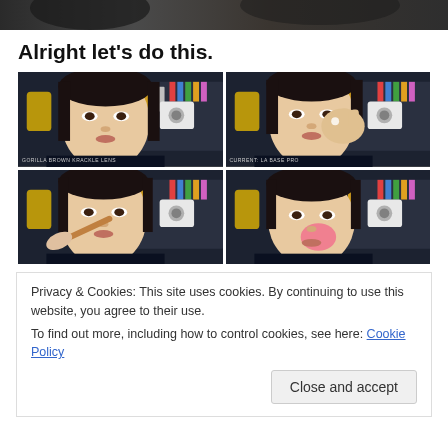[Figure (photo): Cropped top portion of a photo, dark blurred background]
Alright let's do this.
[Figure (photo): 2x2 grid of video screenshots showing an Asian woman applying makeup in front of a shelf with colorful items and a Fujifilm Instax camera. Top-left: bare face looking forward. Top-right: applying product to cheek. Bottom-left: applying blush with brush. Bottom-right: applying product to nose area.]
Privacy & Cookies: This site uses cookies. By continuing to use this website, you agree to their use.
To find out more, including how to control cookies, see here: Cookie Policy